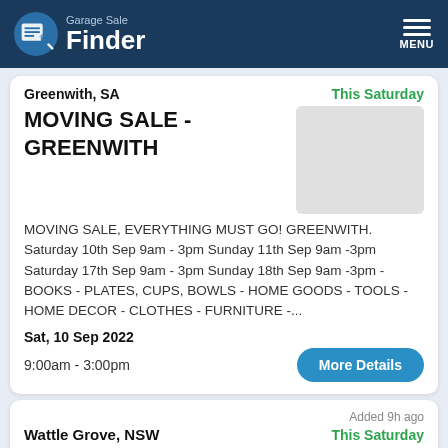Garage Sale Finder
Greenwith, SA — This Saturday
MOVING SALE - GREENWITH
MOVING SALE, EVERYTHING MUST GO! GREENWITH. Saturday 10th Sep 9am - 3pm Sunday 11th Sep 9am -3pm Saturday 17th Sep 9am - 3pm Sunday 18th Sep 9am -3pm - BOOKS - PLATES, CUPS, BOWLS - HOME GOODS - TOOLS - HOME DECOR - CLOTHES - FURNITURE -...
Sat, 10 Sep 2022
9:00am - 3:00pm
Added 9h ago
Wattle Grove, NSW — This Saturday
Wattle Grove Garage